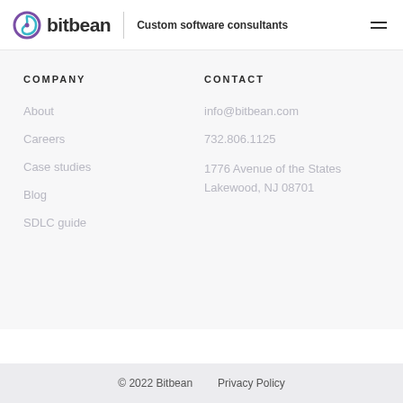bitbean | Custom software consultants
COMPANY
About
Careers
Case studies
Blog
SDLC guide
CONTACT
info@bitbean.com
732.806.1125
1776 Avenue of the States
Lakewood, NJ 08701
© 2022 Bitbean    Privacy Policy